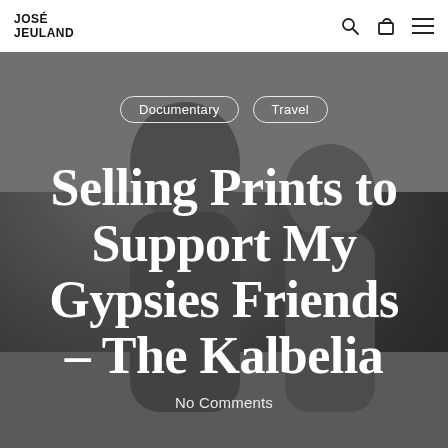JOSÉ JEULAND
[Figure (photo): Black and white photograph of two children (Kalbelia gypsies) laughing and playing, with a stone wall/terrace in the background. The image serves as a full-width hero background.]
Documentary   Travel
Selling Prints to Support My Gypsies Friends – The Kalbelia
No Comments